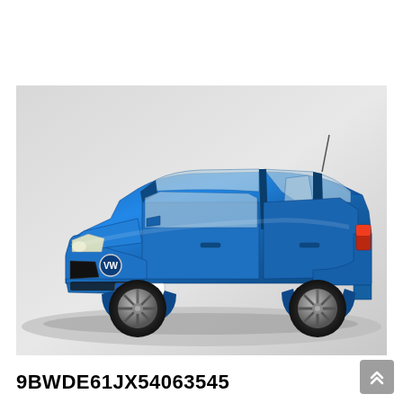[Figure (photo): A blue Volkswagen Golf Mk4 hatchback photographed in a studio setting with a light grey background. The car has German license plate 'WOB VA 238', five doors, sporty alloy wheels, and is shown from a front three-quarter angle.]
9BWDE61JX54063545